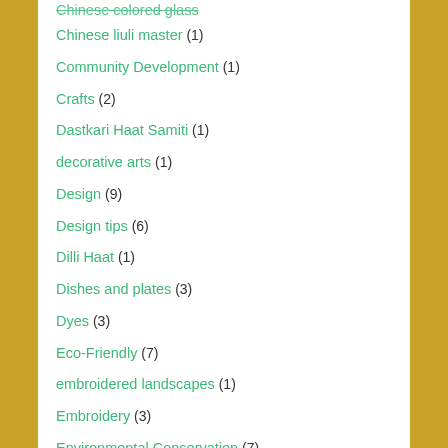Chinese colored glass (1)
Chinese liuli master (1)
Community Development (1)
Crafts (2)
Dastkari Haat Samiti (1)
decorative arts (1)
Design (9)
Design tips (6)
Dilli Haat (1)
Dishes and plates (3)
Dyes (3)
Eco-Friendly (7)
embroidered landscapes (1)
Embroidery (3)
Environmental Conservation (7)
Fan Li (1)
Fashion accessories (2)
Female Empowerment (3)
Fiber Art (1)